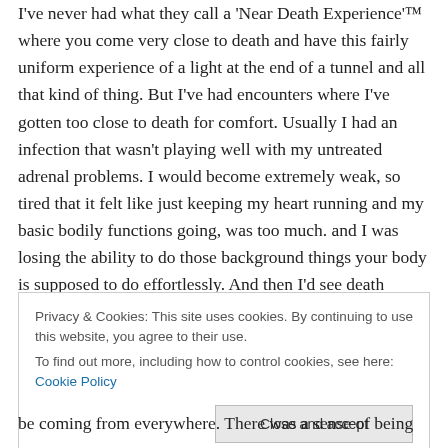I've never had what they call a 'Near Death Experience'™ where you come very close to death and have this fairly uniform experience of a light at the end of a tunnel and all that kind of thing. But I've had encounters where I've gotten too close to death for comfort. Usually I had an infection that wasn't playing well with my untreated adrenal problems. I would become extremely weak, so tired that it felt like just keeping my heart running and my basic bodily functions going, was too much. and I was losing the ability to do those background things your body is supposed to do effortlessly. And then I'd see death
Privacy & Cookies: This site uses cookies. By continuing to use this website, you agree to their use.
To find out more, including how to control cookies, see here: Cookie Policy
Close and accept
be coming from everywhere. There was a sense of being